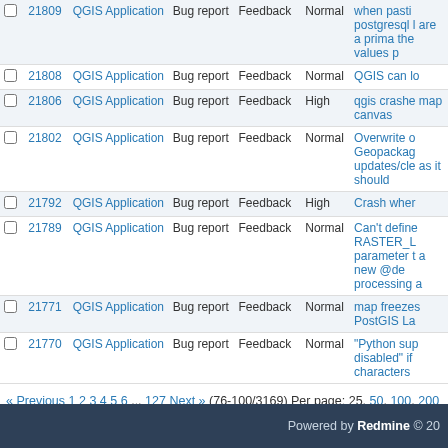|  | # | Project | Tracker | Status | Priority | Subject |
| --- | --- | --- | --- | --- | --- | --- |
|  | 21809 | QGIS Application | Bug report | Feedback | Normal | when pasti postgresql l are a prima the values p |
|  | 21808 | QGIS Application | Bug report | Feedback | Normal | QGIS can lo |
|  | 21806 | QGIS Application | Bug report | Feedback | High | qgis crashe map canvas |
|  | 21802 | QGIS Application | Bug report | Feedback | Normal | Overwrite o Geopackag updates/cle as it should |
|  | 21792 | QGIS Application | Bug report | Feedback | High | Crash wher |
|  | 21789 | QGIS Application | Bug report | Feedback | Normal | Can't define RASTER_L parameter t a new @de processing |
|  | 21771 | QGIS Application | Bug report | Feedback | Normal | map freezes PostGIS La |
|  | 21770 | QGIS Application | Bug report | Feedback | Normal | "Python sup disabled" if characters |
« Previous 1 2 3 4 5 6 ... 127 Next » (76-100/3169) Per page: 25, 50, 100, 200
Powered by Redmine © 20